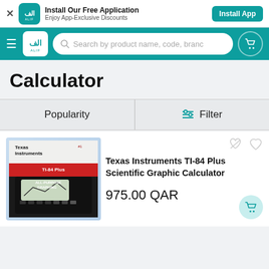Install Our Free Application – Enjoy App-Exclusive Discounts – Install App
[Figure (screenshot): ALIF app logo in banner and navbar]
Search by product name, code, brand
Calculator
Popularity
Filter
[Figure (photo): Texas Instruments TI-84 Plus Scientific Graphic Calculator product package image]
Texas Instruments TI-84 Plus Scientific Graphic Calculator
975.00 QAR